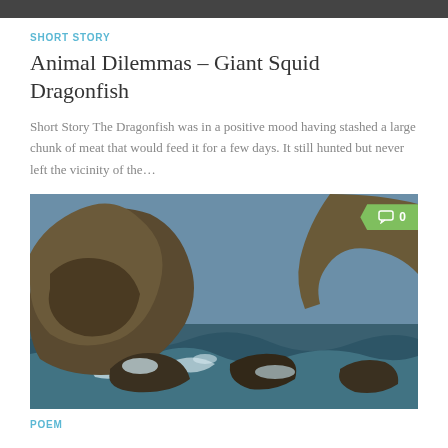SHORT STORY
Animal Dilemmas – Giant Squid Dragonfish
Short Story The Dragonfish was in a positive mood having stashed a large chunk of meat that would feed it for a few days. It still hunted but never left the vicinity of the…
[Figure (photo): Rocky coastal cliffs with waves crashing against dark rocks in the ocean, with a comment badge showing '0' in the top right corner]
POEM